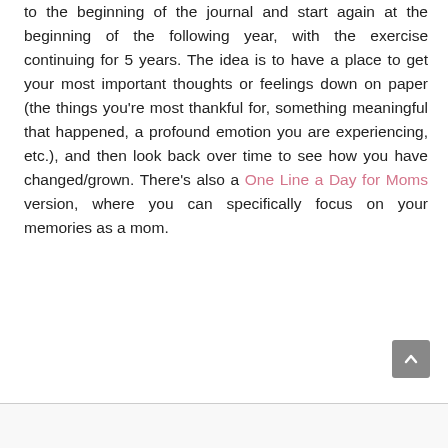to the beginning of the journal and start again at the beginning of the following year, with the exercise continuing for 5 years. The idea is to have a place to get your most important thoughts or feelings down on paper (the things you're most thankful for, something meaningful that happened, a profound emotion you are experiencing, etc.), and then look back over time to see how you have changed/grown. There's also a One Line a Day for Moms version, where you can specifically focus on your memories as a mom.